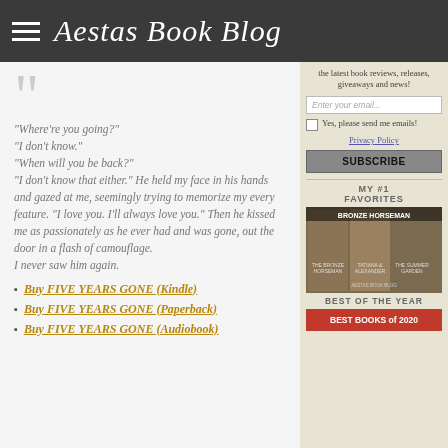Aestas Book Blog
"Where're you going?" "I don't know." "When will you be back?" "I don't know that either." He held my face in his hands and gazed at me, seemingly trying to memorize my every feature. "I love you. I'll always love you." Then he kissed me as passionately as he ever had and was gone, out the door in a flash of camouflage. I never saw him again.
Buy FIVE YEARS GONE (Kindle)
Buy FIVE YEARS GONE (Paperback)
Buy FIVE YEARS GONE (Audiobook)
the latest book reviews, releases, giveaways and news!
Enter your email...
Yes, please send me emails!
Privacy Policy
SUBSCRIBE
MY #1 FAVORITES
[Figure (photo): Bronze Horseman book cover series]
BEST OF THE YEAR
[Figure (photo): Best Books of 2020 banner]